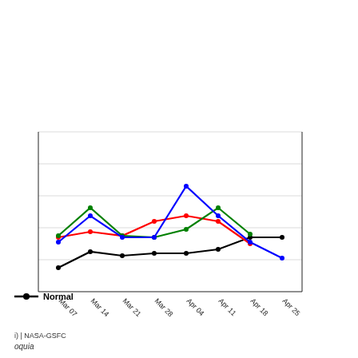[Figure (line-chart): ]
i) | NASA-GSFC
Normal
oquia